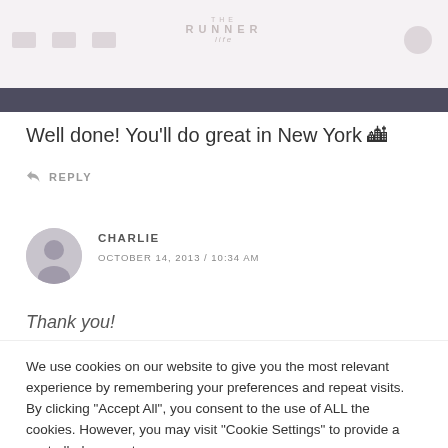THE RUNNER [website header with logo and navigation]
Well done! You'll do great in New York 🏙
↩ REPLY
CHARLIE
OCTOBER 14, 2013 / 10:34 AM
Thank you!
We use cookies on our website to give you the most relevant experience by remembering your preferences and repeat visits. By clicking "Accept All", you consent to the use of ALL the cookies. However, you may visit "Cookie Settings" to provide a controlled consent.
Cookie Settings   Accept All